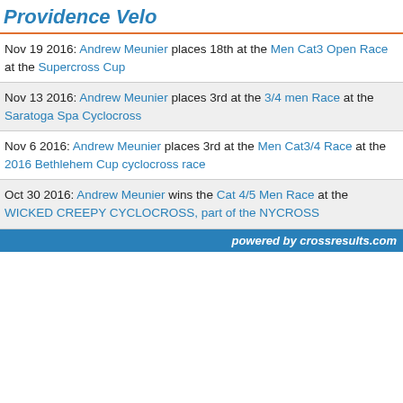Providence Velo
Nov 19 2016: Andrew Meunier places 18th at the Men Cat3 Open Race at the Supercross Cup
Nov 13 2016: Andrew Meunier places 3rd at the 3/4 men Race at the Saratoga Spa Cyclocross
Nov 6 2016: Andrew Meunier places 3rd at the Men Cat3/4 Race at the 2016 Bethlehem Cup cyclocross race
Oct 30 2016: Andrew Meunier wins the Cat 4/5 Men Race at the WICKED CREEPY CYCLOCROSS, part of the NYCROSS
powered by crossresults.com